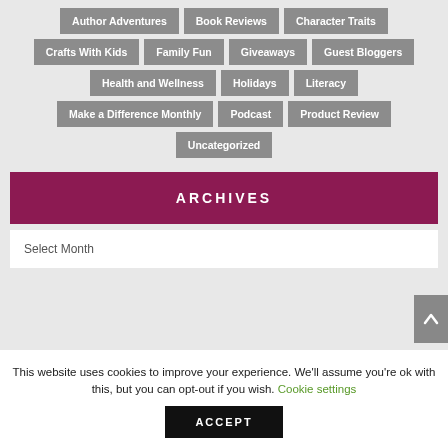Author Adventures
Book Reviews
Character Traits
Crafts With Kids
Family Fun
Giveaways
Guest Bloggers
Health and Wellness
Holidays
Literacy
Make a Difference Monthly
Podcast
Product Review
Uncategorized
ARCHIVES
Select Month
This website uses cookies to improve your experience. We'll assume you're ok with this, but you can opt-out if you wish. Cookie settings
ACCEPT